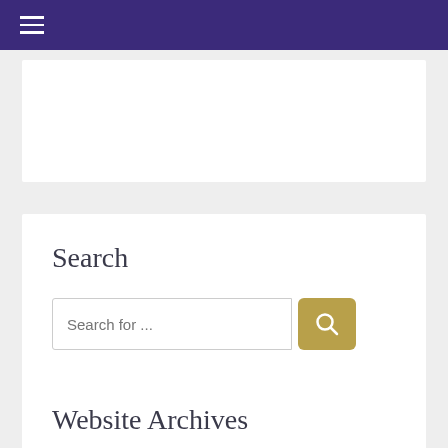≡ (hamburger menu)
[Figure (other): White rectangular placeholder area, likely an advertisement or image]
Search
Search for ...
Website Archives